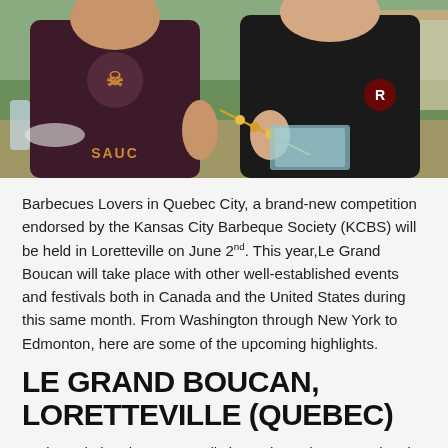[Figure (photo): Two people at an outdoor BBQ event. The person on the left wears a dark maroon t-shirt with a skull/pig BBQ logo and the word 'SAUCE'. The person on the right wears a black v-neck shirt. They appear to be preparing food with skewers on a table with red containers. Green grass and a tent are visible in the background.]
Barbecues Lovers in Quebec City, a brand-new competition endorsed by the Kansas City Barbeque Society (KCBS) will be held in Loretteville on June 2nd. This year,Le Grand Boucan will take place with other well-established events and festivals both in Canada and the United States during this same month. From Washington through New York to Edmonton, here are some of the upcoming highlights.
LE GRAND BOUCAN, LORETTEVILLE (QUEBEC)
On its website, the KCBS calls it Quebec City International BBQ & Music Festival, but the event is named Le Grand Boucan. More than